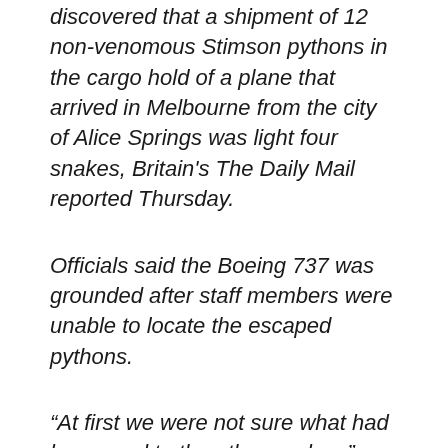discovered that a shipment of 12 non-venomous Stimson pythons in the cargo hold of a plane that arrived in Melbourne from the city of Alice Springs was light four snakes, Britain's The Daily Mail reported Thursday.
Officials said the Boeing 737 was grounded after staff members were unable to locate the escaped pythons.
“At first we were not sure what had happened to the other snakes,” Qantas Corporate